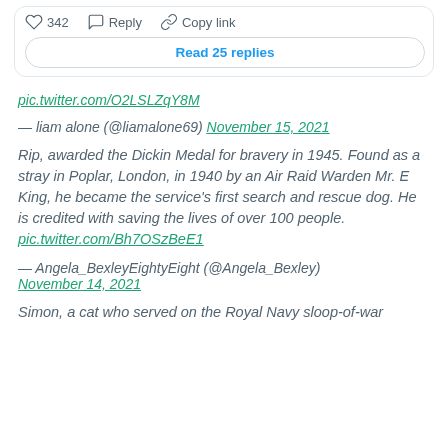♡ 342   Reply   Copy link
Read 25 replies
pic.twitter.com/O2LSLZqY8M
— liam alone (@liamalone69) November 15, 2021
Rip, awarded the Dickin Medal for bravery in 1945. Found as a stray in Poplar, London, in 1940 by an Air Raid Warden Mr. E King, he became the service's first search and rescue dog. He is credited with saving the lives of over 100 people. pic.twitter.com/Bh7OSzBeE1
— Angela_BexleyEightyEight (@Angela_Bexley) November 14, 2021
Simon, a cat who served on the Royal Navy sloop-of-war